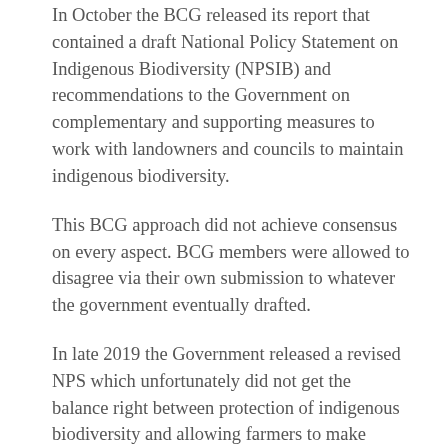In October the BCG released its report that contained a draft National Policy Statement on Indigenous Biodiversity (NPSIB) and recommendations to the Government on complementary and supporting measures to work with landowners and councils to maintain indigenous biodiversity.
This BCG approach did not achieve consensus on every aspect. BCG members were allowed to disagree via their own submission to whatever the government eventually drafted.
In late 2019 the Government released a revised NPS which unfortunately did not get the balance right between protection of indigenous biodiversity and allowing farmers to make reasonable use of their land,
Federated Farmers sought and obtained significant member input and feedback from farmer and, in early 2020, lodged a 208 page submission (read it here) raising